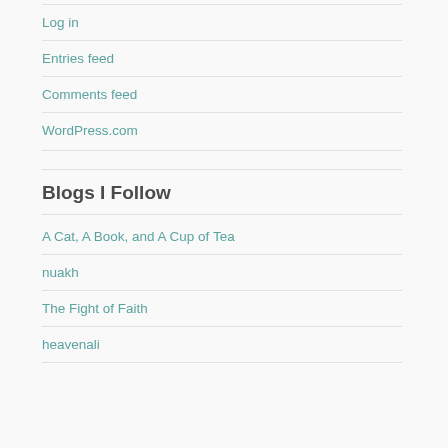Log in
Entries feed
Comments feed
WordPress.com
Blogs I Follow
A Cat, A Book, and A Cup of Tea
nuakh
The Fight of Faith
heavenali